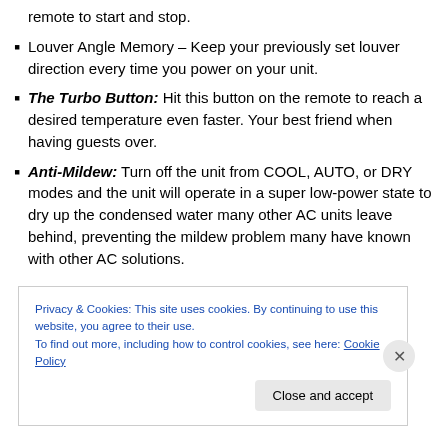remote to start and stop.
Louver Angle Memory – Keep your previously set louver direction every time you power on your unit.
The Turbo Button: Hit this button on the remote to reach a desired temperature even faster. Your best friend when having guests over.
Anti-Mildew: Turn off the unit from COOL, AUTO, or DRY modes and the unit will operate in a super low-power state to dry up the condensed water many other AC units leave behind, preventing the mildew problem many have known with other AC solutions.
Privacy & Cookies: This site uses cookies. By continuing to use this website, you agree to their use. To find out more, including how to control cookies, see here: Cookie Policy